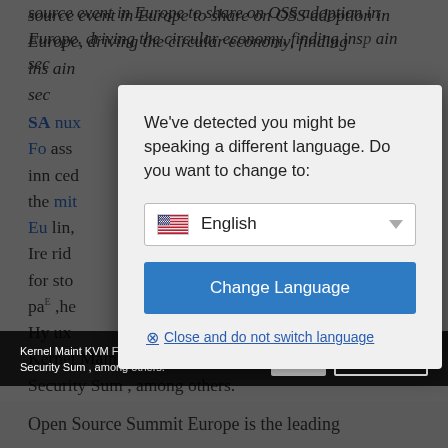source event in Europe to share on OSS adoption in Europe, driving the circular economy, finding ins... ain sec...
SA... nux Fo... ass inn... ced the... mit Eu... lin, Ire... rid for... sto pa... he Hy... ux Kernel Maint..., KVM Forum, and Linux Security Sum..., among others.
[Figure (screenshot): Language change dialog overlay with 'We've detected you might be speaking a different language. Do you want to change to:' message, English dropdown with US flag, 'Change Language' blue button, and 'Close and do not switch language' link]
Open Source Summit Europe is the leading